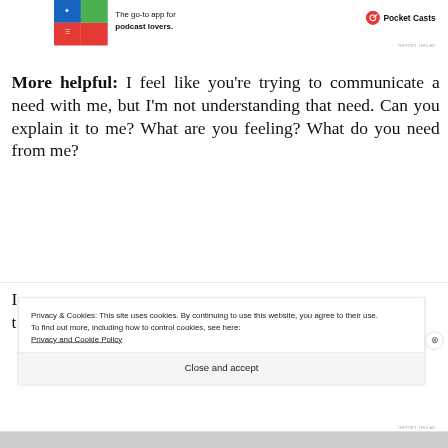[Figure (screenshot): Pocket Casts advertisement banner with colorful logo tiles, text 'The go-to app for podcast lovers.' and Pocket Casts logo/brand name]
More helpful: I feel like you’re trying to communicate a need with me, but I’m not understanding that need. Can you explain it to me? What are you feeling? What do you need from me?
Privacy & Cookies: This site uses cookies. By continuing to use this website, you agree to their use.
To find out more, including how to control cookies, see here:
Privacy and Cookie Policy
Close and accept